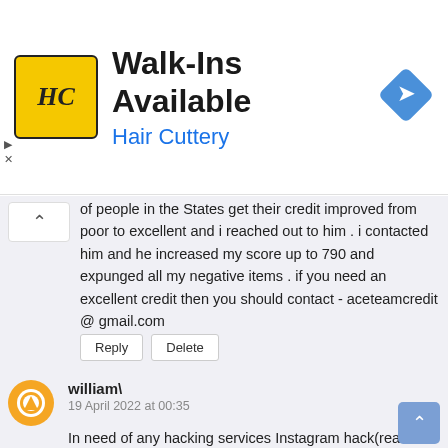[Figure (infographic): Hair Cuttery advertisement banner with logo, text 'Walk-Ins Available / Hair Cuttery', and a navigation arrow icon]
of people in the States get their credit improved from poor to excellent and i reached out to him . i contacted him and he increased my score up to 790 and expunged all my negative items . if you need an excellent credit then you should contact - aceteamcredit @ gmail.com
Reply   Delete
william\
19 April 2022 at 00:35
In need of any hacking services Instagram hack(real followers verification and so on) or in need hacking service like bitcoin mining or you are you suspecting your spouse that's he/she is cheating then your search has stopped I can help you with any of that services you can hit our site for more information https://wavedrive.tech